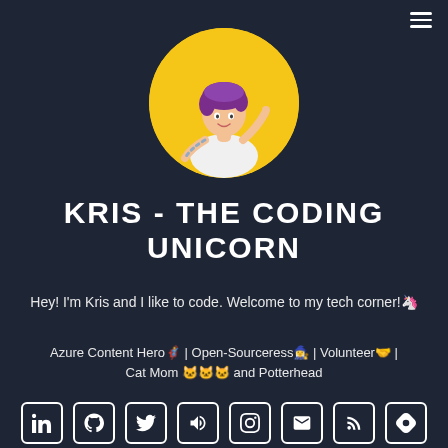[Figure (illustration): Circular avatar with yellow background showing a cartoon illustration of a person with purple hair wearing a white t-shirt, with tattoos on one arm, pointing with one finger up]
KRIS - THE CODING UNICORN
Hey! I'm Kris and I like to code. Welcome to my tech corner!🦄
Azure Content Hero🦸 | Open-Sourceress🧙‍♀ | Volunteer🤝 | Cat Mom 🐱🐱🐱 and Potterhead
[Figure (infographic): Row of social media icon buttons: LinkedIn, GitHub, Twitter, Megaphone/Speaker, Instagram, Email, RSS feed, Hashnode]